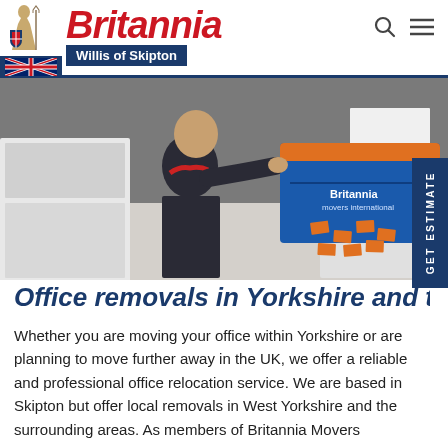Britannia — Willis of Skipton
[Figure (photo): Worker in dark uniform packing a blue Britannia branded crate on a white desk in an office environment]
Office removals in Yorkshire and the UK
Whether you are moving your office within Yorkshire or are planning to move further away in the UK, we offer a reliable and professional office relocation service. We are based in Skipton but offer local removals in West Yorkshire and the surrounding areas. As members of Britannia Movers International, we also have the nationwide resources to arrange your move, wherever